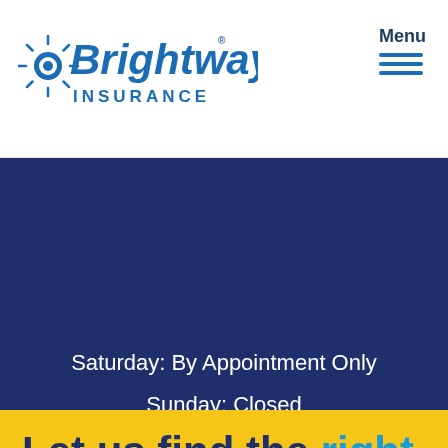[Figure (logo): Brightway Insurance logo with sunburst icon, blue italic text reading 'Brightway' with registered trademark, and 'INSURANCE' in spaced capitals below]
Menu
Saturday: By Appointment Only
Sunday: Closed
Let us find the right insurance for you.